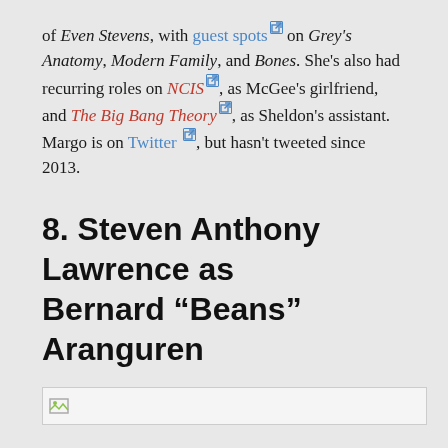of Even Stevens, with guest spots on Grey's Anatomy, Modern Family, and Bones. She's also had recurring roles on NCIS, as McGee's girlfriend, and The Big Bang Theory, as Sheldon's assistant. Margo is on Twitter, but hasn't tweeted since 2013.
8. Steven Anthony Lawrence as Bernard "Beans" Aranguren
[Figure (photo): Broken image placeholder showing a small icon and a light grey rectangle]